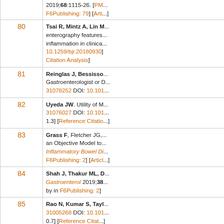| # | Reference |
| --- | --- |
|  | 2019;68:1115-26. [PMID: ... F6Publishing: 79] [Arti... |
| 80 | Tsai R, Mintz A, Lin M... enterography features... inflammation in clinical... 10.1259/bjr.20180930]... Citation Analysis] |
| 81 | Reinglas J, Bessisson... Gastroenterologist or D... 31078252 DOI: 10.101... |
| 82 | Uyeda JW. Utility of M... 31076027 DOI: 10.101... 1.3] [Reference Citatio... |
| 83 | Grass F, Fletcher JG,... an Objective Model to... Inflammatory Bowel Da... F6Publishing: 2] [Articl... |
| 84 | Shah J, Thakur ML, D... Gastroenterol 2019;38... by in F6Publishing: 2] |
| 85 | Rao N, Kumar S, Tayl... 31005268 DOI: 10.101... 0.7] [Reference Citat... |